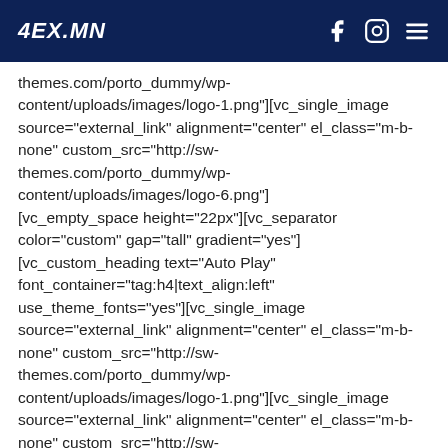4EX.MN
themes.com/porto_dummy/wp-content/uploads/images/logo-1.png"][vc_single_image source="external_link" alignment="center" el_class="m-b-none" custom_src="http://sw-themes.com/porto_dummy/wp-content/uploads/images/logo-6.png"]
[vc_empty_space height="22px"][vc_separator color="custom" gap="tall" gradient="yes"][vc_custom_heading text="Auto Play" font_container="tag:h4|text_align:left" use_theme_fonts="yes"][vc_single_image source="external_link" alignment="center" el_class="m-b-none" custom_src="http://sw-themes.com/porto_dummy/wp-content/uploads/images/logo-1.png"][vc_single_image source="external_link" alignment="center" el_class="m-b-none" custom_src="http://sw-themes.com/porto_dummy/wp-content/uploads/images/logo-2.png"][vc_single_image source="external_link" alignment="center" el_class="m-b-none" custom_src="http://sw-themes.com/porto_dummy/wp-content/uploads/images/logo-3.png"][vc_single_image source="external_link" alignment="center" el_class="m-b-none" custom_src="http://sw-themes.com/porto_dummy/wp-content/uploads/images/logo-